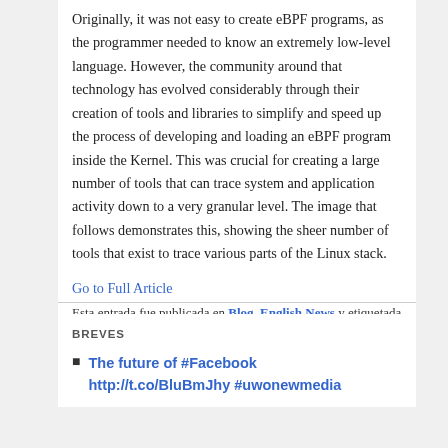Originally, it was not easy to create eBPF programs, as the programmer needed to know an extremely low-level language. However, the community around that technology has evolved considerably through their creation of tools and libraries to simplify and speed up the process of developing and loading an eBPF program inside the Kernel. This was crucial for creating a large number of tools that can trace system and application activity down to a very granular level. The image that follows demonstrates this, showing the sheer number of tools that exist to trace various parts of the Linux stack.
Go to Full Article
Esta entrada fue publicada en Blog, English News y etiquetada english, gnu linux, software-libre por admin. Guarda enlace permanente.
BREVES
The future of #Facebook http://t.co/BluBmJhy #uwonewmedia